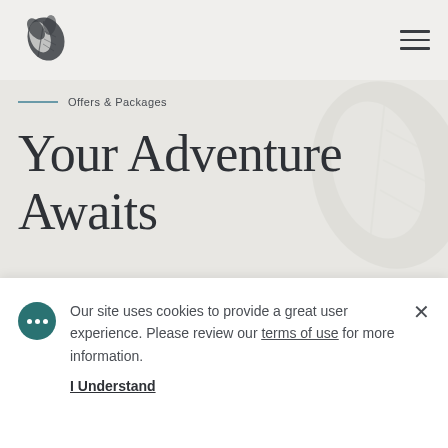[Figure (logo): Tropical leaf/turtle logo icon in dark charcoal color]
Offers & Packages
Your Adventure Awaits
Experience more of Turtle Bay—the bright jewel of the unique and world-renowned
Our site uses cookies to provide a great user experience. Please review our terms of use for more information.
I Understand